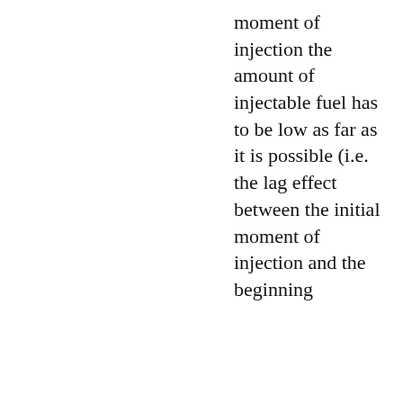moment of injection the amount of injectable fuel has to be low as far as it is possible (i.e. the lag effect between the initial moment of injection and the beginning